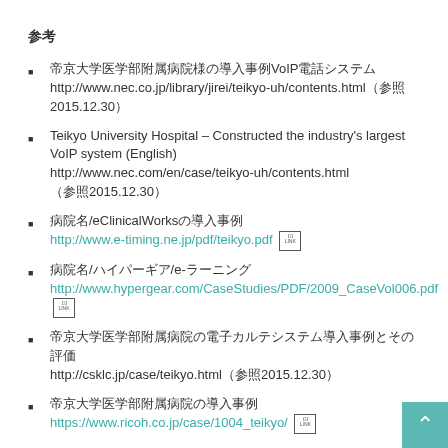参考
帝京大学医学部附属病院様の導入事例VoIP電話システム http://www.nec.co.jp/library/jirei/teikyo-uh/contents.html（参照2015.12.30）
Teikyo University Hospital – Constructed the industry's largest VoIP system (English) http://www.nec.com/en/case/teikyo-uh/contents.html（参照2015.12.30）
病院名/eClinicalWorksの導入事例 http://www.e-timing.ne.jp/pdf/teikyo.pdf
病院名/ハイパーギア/e-ラーニング http://www.hypergear.com/CaseStudies/PDF/2009_CaseVol006.pdf
帝京大学医学部附属病院の電子カルテシステム導入事例とその評価 http://csklc.jp/case/teikyo.html（参照2015.12.30）
帝京大学医学部附属病院の導入事例 https://www.ricoh.co.jp/case/1004_teikyo/